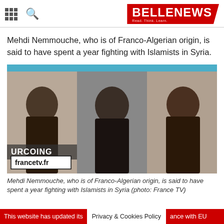BELLENEWS - Read. Think. Learn.
Mehdi Nemmouche, who is of Franco-Algerian origin, is said to have spent a year fighting with Islamists in Syria.
[Figure (photo): Three mugshot-style black and white photos of Mehdi Nemmouche from francetv.fr, showing him from the side (left), front (center), and three-quarter view (right). A 'ROUBAIX' or 'URCOING' text is visible in the lower left corner along with the francetv.fr watermark logo.]
Mehdi Nemmouche, who is of Franco-Algerian origin, is said to have spent a year fighting with Islamists in Syria (photo: France TV)
This website has updated its Privacy & Cookies Policy ance with EU